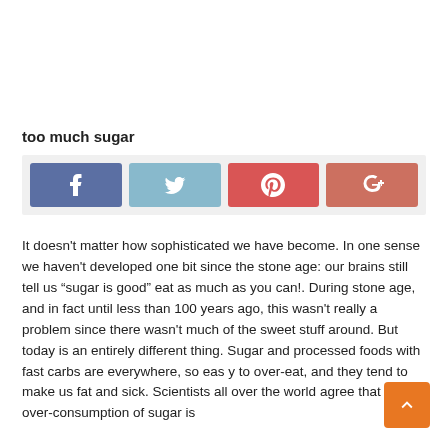too much sugar
[Figure (infographic): Social sharing buttons: Facebook (blue), Twitter (light blue), Pinterest (red), Google+ (salmon/red)]
It doesn't matter how sophisticated we have become. In one sense we haven't developed one bit since the stone age: our brains still tell us “sugar is good” eat as much as you can!. During stone age, and in fact until less than 100 years ago, this wasn't really a problem since there wasn't much of the sweet stuff around. But today is an entirely different thing. Sugar and processed foods with fast carbs are everywhere, so easy to over-eat, and they tend to make us fat and sick. Scientists all over the world agree that the over-consumption of sugar is